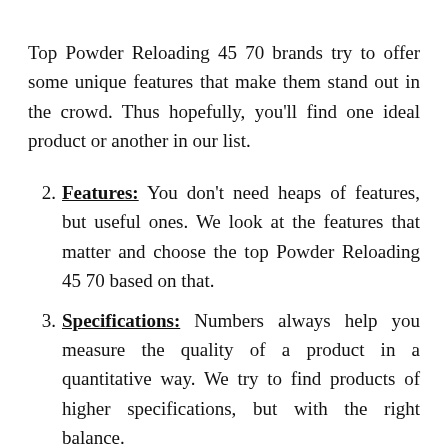Top Powder Reloading 45 70 brands try to offer some unique features that make them stand out in the crowd. Thus hopefully, you'll find one ideal product or another in our list.
2. Features: You don't need heaps of features, but useful ones. We look at the features that matter and choose the top Powder Reloading 45 70 based on that.
3. Specifications: Numbers always help you measure the quality of a product in a quantitative way. We try to find products of higher specifications, but with the right balance.
4. Customer Ratings: The hundreds of customers using the Powder Reloading